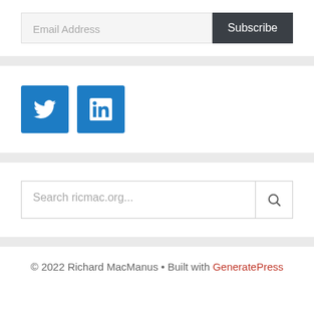[Figure (screenshot): Email subscription form with an 'Email Address' placeholder input field and a dark 'Subscribe' button]
[Figure (screenshot): Social media icons: Twitter (blue bird icon) and LinkedIn (blue 'in' icon)]
[Figure (screenshot): Search bar with placeholder 'Search ricmac.org...' and a search icon button]
© 2022 Richard MacManus • Built with GeneratePress